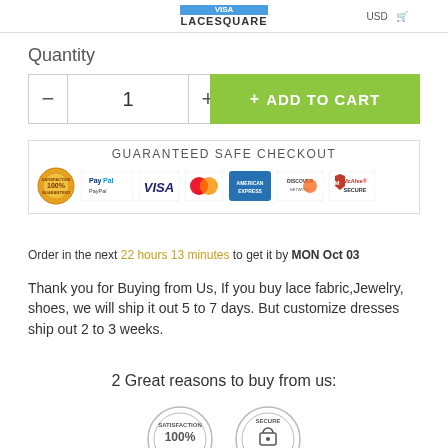LACESQUARE
Quantity
— 1 + ADD TO CART
[Figure (infographic): Guaranteed Safe Checkout banner with payment method logos: Satisfaction 100% Guaranteed seal, PayPal, VISA, MasterCard, American Express, Discover Network, McAfee SECURE]
Order in the next 22 hours 13 minutes to get it by MON Oct 03
Thank you for Buying from Us, If you buy lace fabric,Jewelry, shoes, we will ship it out 5 to 7 days. But customize dresses ship out 2 to 3 weeks.
2 Great reasons to buy from us:
[Figure (infographic): Two circular badge seals at bottom: Satisfaction 100% Guaranteed and Secure Ordering]